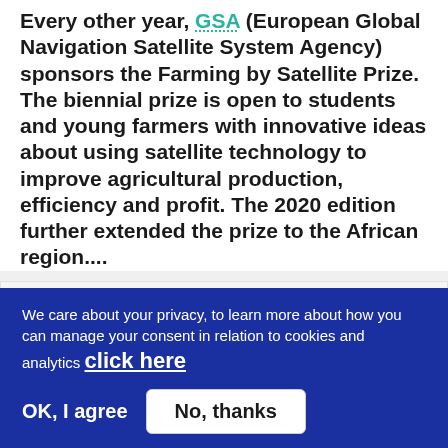Every other year, GSA (European Global Navigation Satellite System Agency) sponsors the Farming by Satellite Prize. The biennial prize is open to students and young farmers with innovative ideas about using satellite technology to improve agricultural production, efficiency and profit. The 2020 edition further extended the prize to the African region....
Segment
[Figure (other): RSS feed icon (orange square with white wifi-like signal arcs)]
We care about your privacy, to learn more about how you can manage your consent in relation to cookies and analytics click here
OK, I agree   No, thanks